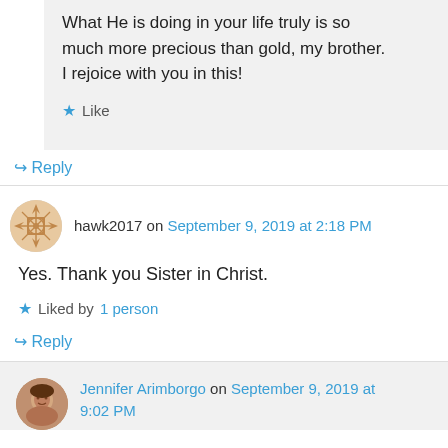What He is doing in your life truly is so much more precious than gold, my brother. I rejoice with you in this!
★ Like
↪ Reply
hawk2017 on September 9, 2019 at 2:18 PM
Yes. Thank you Sister in Christ.
★ Liked by 1 person
↪ Reply
Jennifer Arimborgo on September 9, 2019 at 9:02 PM